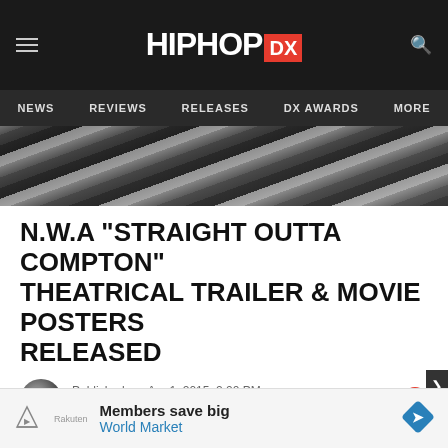HipHopDX — NEWS | REVIEWS | RELEASES | DX AWARDS | MORE
[Figure (photo): Dark hero image showing what appears to be a car grille or chrome detail in black and white]
N.W.A "STRAIGHT OUTTA COMPTON" THEATRICAL TRAILER & MOVIE POSTERS RELEASED
Published on: Apr 1, 2015, 2:00 PM by Soren Baker
The theatrical trailer for the N.W.A Straight Outta Compton biopic has been released, as have the official Straight Outta Compton movie posters of N.W.A members... Yella,
Members save big World Market